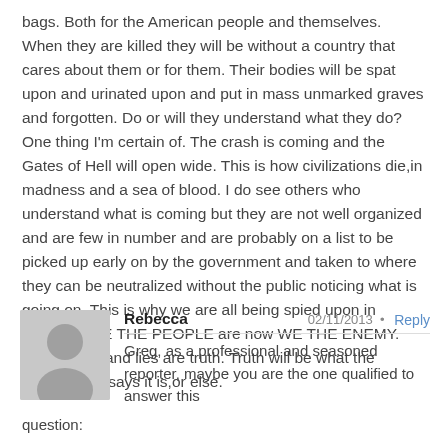bags. Both for the American people and themselves. When they are killed they will be without a country that cares about them or for them. Their bodies will be spat upon and urinated upon and put in mass unmarked graves and forgotten. Do or will they understand what they do? One thing I'm certain of. The crash is coming and the Gates of Hell will open wide. This is how civilizations die,in madness and a sea of blood. I do see others who understand what is coming but they are not well organized and are few in number and are probably on a list to be picked up early on by the government and taken to where they can be neutralized without the public noticing what is going on. This is why we are all being spied upon in America. WE THE PEOPLE are now WE THE ENEMY. Truth is lies and lies are truth. Truth will be what the government says it is,or else.
Rebecca
02/11/2013 • Reply
Greg, as a professional and seasoned reporter, maybe you are the one qualified to answer this question: